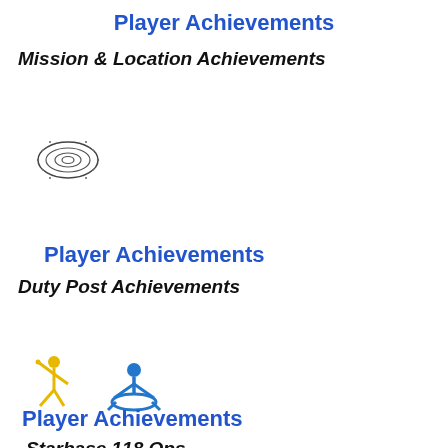Player Achievements
Mission & Location Achievements
[Figure (illustration): A stylized eye/leaf icon drawn with concentric oval shapes, resembling an abstract eye or almond shape, with small star-like dots around it, rendered in dark gray outline style.]
Player Achievements
Duty Post Achievements
[Figure (illustration): Two pictogram icons: a yellow stick figure person raising their arm in a celebratory pose, and a blue stick figure person sitting in a cross-legged meditative pose.]
Player Achievements
Starbase 118 Ops